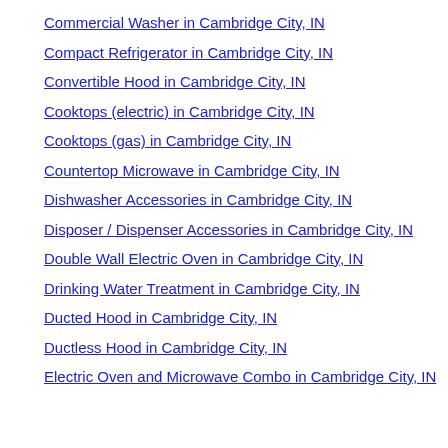Commercial Washer in Cambridge City, IN
Compact Refrigerator in Cambridge City, IN
Convertible Hood in Cambridge City, IN
Cooktops (electric) in Cambridge City, IN
Cooktops (gas) in Cambridge City, IN
Countertop Microwave in Cambridge City, IN
Dishwasher Accessories in Cambridge City, IN
Disposer / Dispenser Accessories in Cambridge City, IN
Double Wall Electric Oven in Cambridge City, IN
Drinking Water Treatment in Cambridge City, IN
Ducted Hood in Cambridge City, IN
Ductless Hood in Cambridge City, IN
Electric Oven and Microwave Combo in Cambridge City, IN